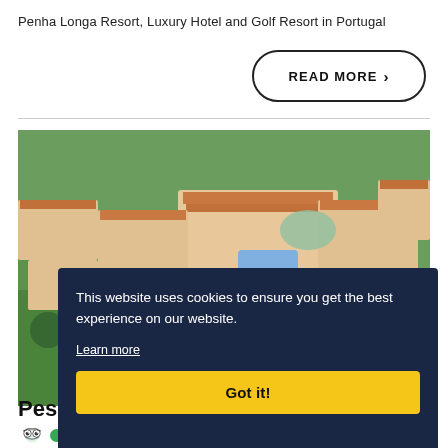Penha Longa Resort, Luxury Hotel and Golf Resort in Portugal
READ MORE ›
[Figure (photo): Aerial view of Penha Longa Resort showing red-roofed buildings, green lawns, and surrounding landscape in Portugal]
This website uses cookies to ensure you get the best experience on our website. Learn more Got it!
Pes
[Figure (other): TripAdvisor owl logo followed by four green circles and one empty green circle indicating rating]